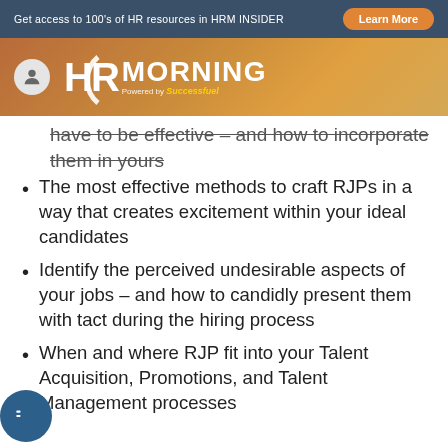Get access to 100's of HR resources in HRM INSIDER  Learn More
[Figure (logo): HR Morning logo with user icon on brown/orange gradient background, powered by Successfuel]
have to be effective – and how to incorporate them in yours
The most effective methods to craft RJPs in a way that creates excitement within your ideal candidates
Identify the perceived undesirable aspects of your jobs – and how to candidly present them with tact during the hiring process
When and where RJP fit into your Talent Acquisition, Promotions, and Talent Management processes
Hire Better Employees & Reduce First 90-Day Turnover